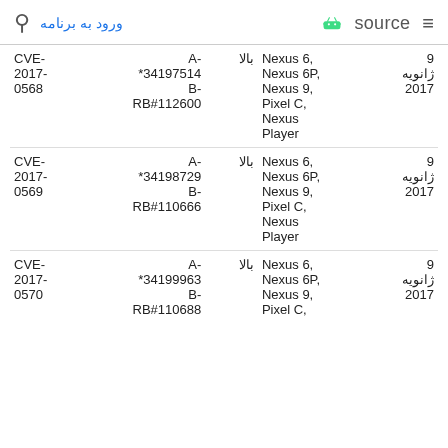ورود به برنامه | source (Android)
| CVE | References | Severity | Devices | Date |
| --- | --- | --- | --- | --- |
| CVE-2017-0568 | A-*34197514 B-RB#112600 | بالا | Nexus 6, Nexus 6P, Nexus 9, Pixel C, Nexus Player | 9 ژانویه 2017 |
| CVE-2017-0569 | A-*34198729 B-RB#110666 | بالا | Nexus 6, Nexus 6P, Nexus 9, Pixel C, Nexus Player | 9 ژانویه 2017 |
| CVE-2017-0570 | A-*34199963 B-RB#110688 | بالا | Nexus 6, Nexus 6P, Nexus 9, Pixel C | 9 ژانویه 2017 |